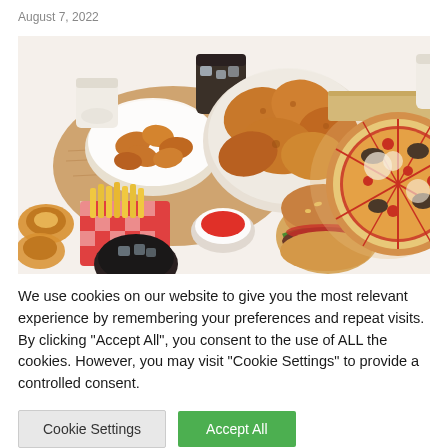August 7, 2022
[Figure (photo): Overhead view of assorted fast food items including fried chicken, pizza, burger, french fries, chicken nuggets, onion rings, and dipping sauces arranged on a white surface]
We use cookies on our website to give you the most relevant experience by remembering your preferences and repeat visits. By clicking "Accept All", you consent to the use of ALL the cookies. However, you may visit "Cookie Settings" to provide a controlled consent.
Cookie Settings | Accept All